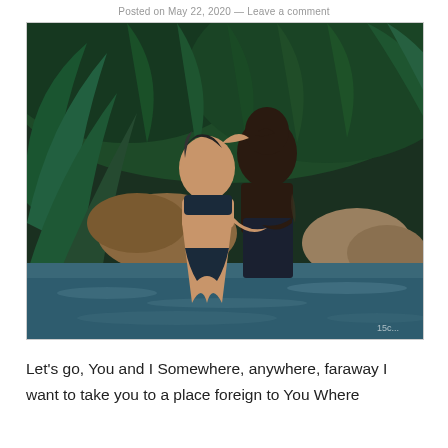Posted on May 22, 2020 — Leave a comment
[Figure (photo): A couple kissing while standing in a natural pool or stream surrounded by lush tropical ferns and foliage. The woman is wearing a dark bikini top and the man is shirtless wearing dark shorts. Large rocks and dense green plants fill the background.]
Let's go, You and I Somewhere, anywhere, faraway I want to take you to a place foreign to You Where